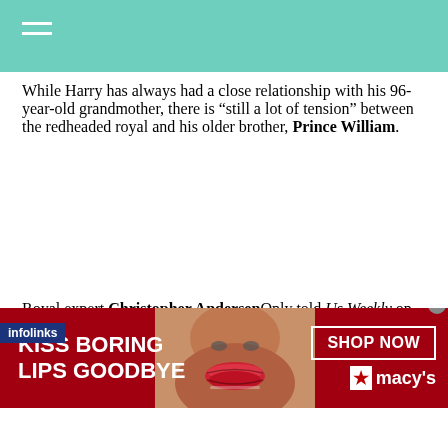While Harry has always had a close relationship with his 96-year-old grandmother, there is “still a lot of tension” between the redheaded royal and his older brother, Prince William.
Royal expert Christopher AndersenOnly told Us Weekly on Tuesday, June 7, that Harry and Meghan’s attempts to “mend fences” with the rest of the royals at the Platinum Jubilee were
[Figure (screenshot): Macy's advertisement banner: red background with 'KISS BORING LIPS GOODBYE' text, woman's face with red lips in center, 'SHOP NOW' button and Macy's star logo on right]